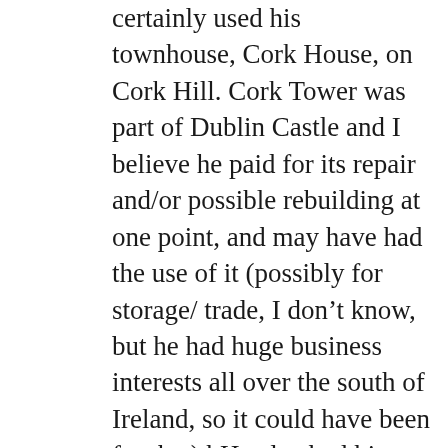certainly used his townhouse, Cork House, on Cork Hill. Cork Tower was part of Dublin Castle and I believe he paid for its repair and/or possible rebuilding at one point, and may have had the use of it (possibly for storage/ trade, I don't know, but he had huge business interests all over the south of Ireland, so it could have been for that) bHe also had his coat of arms on the exterior of it (Cork Tower) at one point. But he lived as i understand it, in Cork House. As for the rest of your points, the “Boot” in Oxmantown, sounds like an establishment to me, like an inn